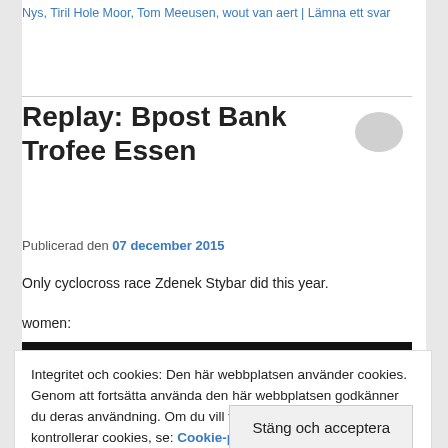Nys, Tiril Hole Moor, Tom Meeusen, wout van aert | Lämna ett svar
Replay: Bpost Bank Trofee Essen
Publicerad den 07 december 2015
Only cyclocross race Zdenek Stybar did this year.
women:
[Figure (photo): Dark/black video player bar]
Integritet och cookies: Den här webbplatsen använder cookies. Genom att fortsätta använda den här webbplatsen godkänner du deras användning. Om du vill veta mer, inklusive hur du kontrollerar cookies, se: Cookie-policy